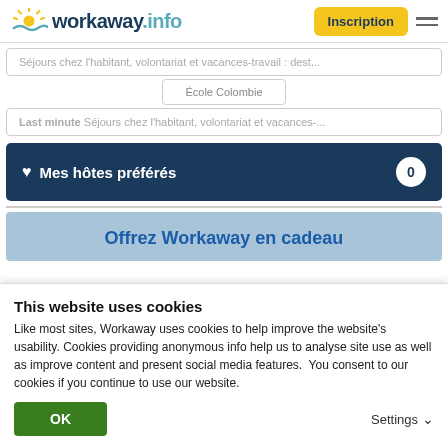workaway.info — Inscription
Séjours chez l'habitant, volontariat et vacances-travail : dest...
École Colombie
Last minute Séjours chez l'habitant, volontariat et vacances-...
♥ Mes hôtes préférés  0
Offrez Workaway en cadeau
This website uses cookies
Like most sites, Workaway uses cookies to help improve the website's usability. Cookies providing anonymous info help us to analyse site use as well as improve content and present social media features.  You consent to our cookies if you continue to use our website.
OK
Settings